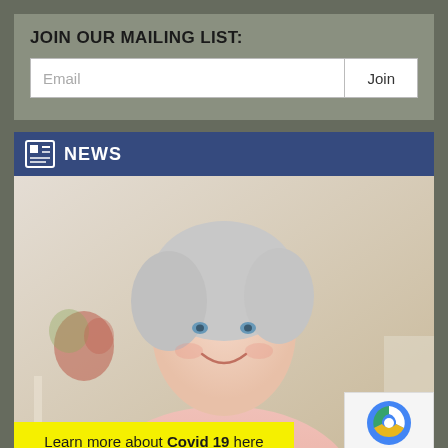JOIN OUR MAILING LIST:
Email
Join
NEWS
[Figure (photo): Elderly smiling woman in a pink shirt seated at a table, with flowers in the background]
Learn more about Covid 19 here
[Figure (logo): Google reCAPTCHA logo with Privacy and Terms text]